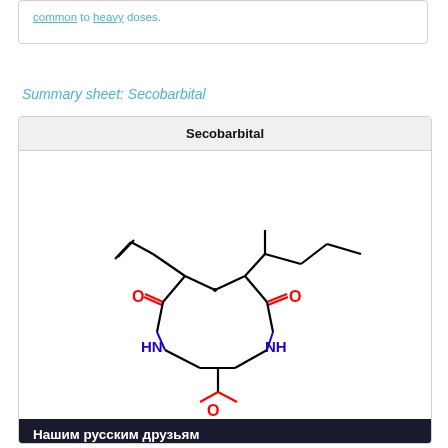common to heavy doses.
Summary sheet: Secobarbital
[Figure (schematic): Chemical structure diagram of Secobarbital showing the barbiturate ring with HN-NH groups in blue, three O atoms in red, allyl and penyl substituents in black lines.]
Нашим русским друзьям